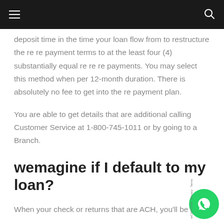deposit time in the time your loan flow from to restructure the re re payment terms to at the least four (4) substantially equal re re re payments. You may select this method when per 12-month duration. There is absolutely no fee to get into the re payment plan.
You are able to get details that are additional calling Customer Service at 1-800-745-1011 or by going to a Branch.
wemagine if I default to my loan?
When your check or returns that are ACH, you'll be